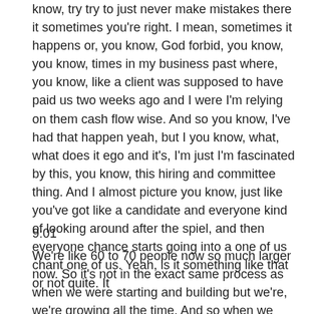know, try try to just never make mistakes there it sometimes you're right. I mean, sometimes it happens or, you know, God forbid, you know, you know, times in my business past where, you know, like a client was supposed to have paid us two weeks ago and I were I'm relying on them cash flow wise. And so you know, I've had that happen yeah, but I you know, what, what does it ego and it's, I'm just I'm fascinated by this, you know, this hiring and committee thing. And I almost picture you know, just like you've got like a candidate and everyone kind of looking around after the spiel, and then everyone chance starts going into a one of us chant one of us. Yeah, is it something like that or not quite. It
9:01
We're like 60 to 70 people now so much larger now. So it's not in the exact same process as when we were starting and building but we're, we're growing all the time. And so when we hire Yeah, we still make decisions as a group as as who we like. And in higher end teams, we have departments and we don't like that. Yeah. And the